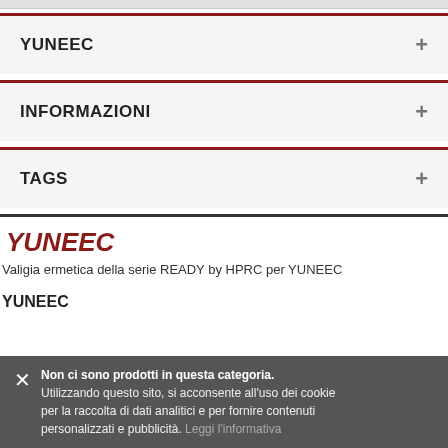YUNEEC
INFORMAZIONI
TAGS
YUNEEC
Valigia ermetica della serie READY by HPRC per YUNEEC
YUNEEC
Non ci sono prodotti in questa categoria. Utilizzando questo sito, si acconsente all'uso dei cookie per la raccolta di dati analitici e per fornire contenuti personalizzati e pubblicità. Leggi l'informativa